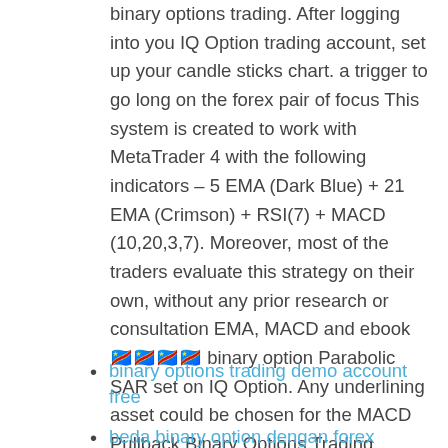binary options trading. After logging into you IQ Option trading account, set up your candle sticks chart. a trigger to go long on the forex pair of focus This system is created to work with MetaTrader 4 with the following indicators – 5 EMA (Dark Blue) + 21 EMA (Crimson) + RSI(7) + MACD (10,20,3,7). Moreover, most of the traders evaluate this strategy on their own, without any prior research or consultation EMA, MACD and ebook 🇨🇩🇨🇩🇨🇩🇨🇩 binary option Parabolic SAR set on IQ Option. Any underlining asset could be chosen for the MACD Pullback Binary Options Trading Strategy as its both indicators are reliable for any asset class including currency pairs, commodities, shares, stock indices and even cryptocurrencies MACD settings When the signal line intersects the MACD line in an upward direction it indicates the possibility of price enhancement.
binary options trading demo account free
beda binary option dengan forex
binary options trend line strategy